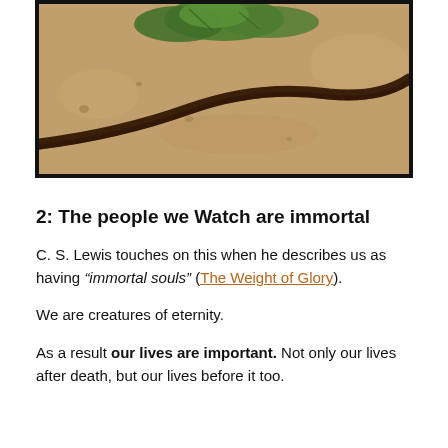[Figure (photo): Close-up photograph of sandy ground with a dark brown curved twig or branch and green leaves visible in the upper portion, bordered by a thick black frame.]
2: The people we Watch are immortal
C. S. Lewis touches on this when he describes us as having “immortal souls” (The Weight of Glory).
We are creatures of eternity.
As a result our lives are important. Not only our lives after death, but our lives before it too.